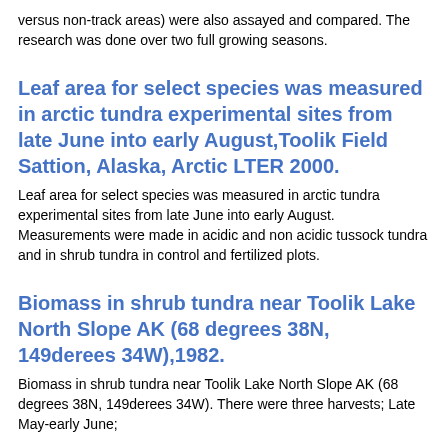versus non-track areas) were also assayed and compared. The research was done over two full growing seasons.
Leaf area for select species was measured in arctic tundra experimental sites from late June into early August,Toolik Field Sattion, Alaska, Arctic LTER 2000.
Leaf area for select species was measured in arctic tundra experimental sites from late June into early August. Measurements were made in acidic and non acidic tussock tundra and in shrub tundra in control and fertilized plots.
Biomass in shrub tundra near Toolik Lake North Slope AK (68 degrees 38N, 149derees 34W),1982.
Biomass in shrub tundra near Toolik Lake North Slope AK (68 degrees 38N, 149derees 34W). There were three harvests; Late May-early June;